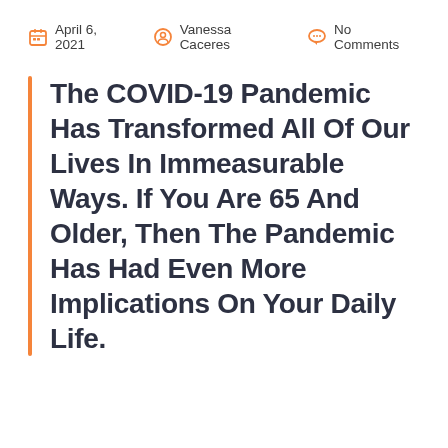April 6, 2021  Vanessa Caceres  No Comments
The COVID-19 Pandemic Has Transformed All Of Our Lives In Immeasurable Ways. If You Are 65 And Older, Then The Pandemic Has Had Even More Implications On Your Daily Life.